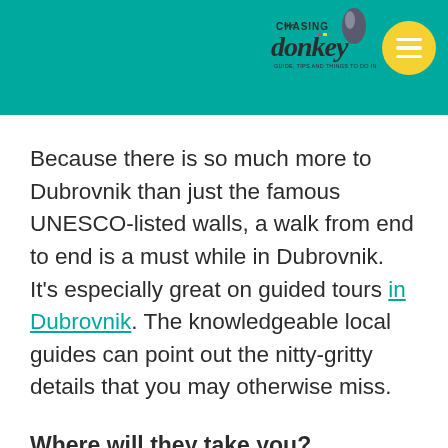[Figure (logo): Chasing the Donkey travel blog logo with a donkey illustration and a yellow circle with hamburger menu icon, on a teal/turquoise background header bar]
Because there is so much more to Dubrovnik than just the famous UNESCO-listed walls, a walk from end to end is a must while in Dubrovnik. It’s especially great on guided tours in Dubrovnik. The knowledgeable local guides can point out the nitty-gritty details that you may otherwise miss.
Where will they take you?